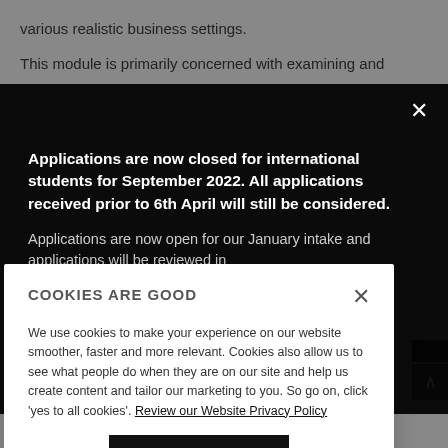various realistic business settings.
This module is primarily concerned with examining and
[Figure (screenshot): Dark modal overlay with message about applications being closed for international students for September 2022, with note that applications received prior to 6th April will still be considered. Also mentions applications are now open for January intake.]
COOKIES ARE GOOD
We use cookies to make your experience on our website smoother, faster and more relevant. Cookies also allow us to see what people do when they are on our site and help us create content and tailor our marketing to you. So go on, click 'yes to all cookies'. Review our Website Privacy Policy